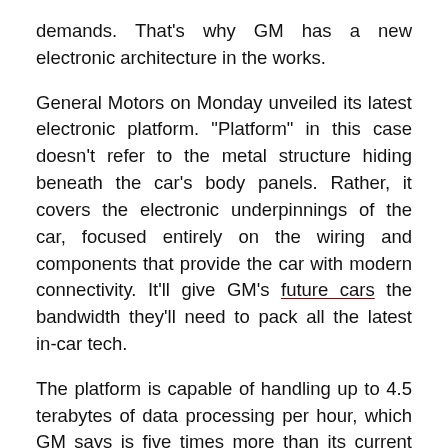demands. That's why GM has a new electronic architecture in the works.
General Motors on Monday unveiled its latest electronic platform. "Platform" in this case doesn't refer to the metal structure hiding beneath the car's body panels. Rather, it covers the electronic underpinnings of the car, focused entirely on the wiring and components that provide the car with modern connectivity. It'll give GM's future cars the bandwidth they'll need to pack all the latest in-car tech.
The platform is capable of handling up to 4.5 terabytes of data processing per hour, which GM says is five times more than its current electronic architecture can handle. That should provide a boost to GM's Super Cruise system, which needs to crunch a whole bunch of data to do its job. At the same time, various components inside the car should be able to talk with each other -- and with systems outside the